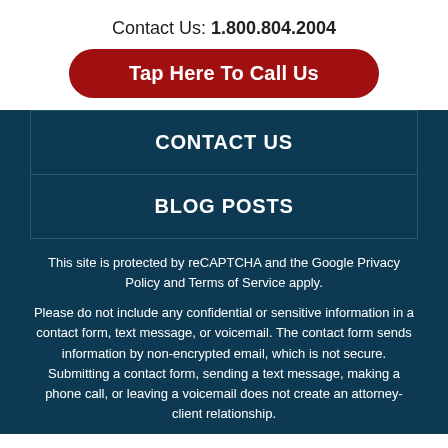Contact Us: 1.800.804.2004
Tap Here To Call Us
CONTACT US
BLOG POSTS
This site is protected by reCAPTCHA and the Google Privacy Policy and Terms of Service apply.
Please do not include any confidential or sensitive information in a contact form, text message, or voicemail. The contact form sends information by non-encrypted email, which is not secure. Submitting a contact form, sending a text message, making a phone call, or leaving a voicemail does not create an attorney-client relationship.